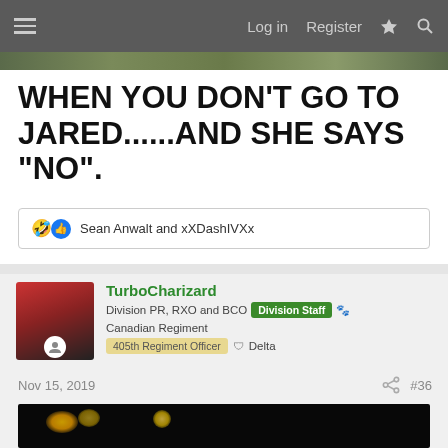Log in  Register
WHEN YOU DON'T GO TO JARED......AND SHE SAYS "NO".
Sean Anwalt and xXDashIVXx
TurboCharizard  Division PR, RXO and BCO  Division Staff  Canadian Regiment  405th Regiment Officer  Delta
Nov 15, 2019  #36
[Figure (photo): Dark nighttime bokeh photo with yellow/orange lights out of focus]